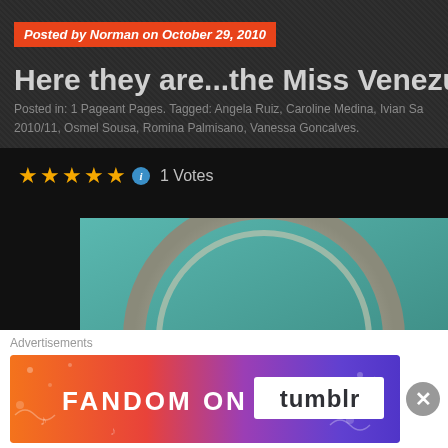Posted by Norman on October 29, 2010
Here they are...the Miss Venezuela
Posted in: 1 Pageant Pages. Tagged: Angela Ruiz, Caroline Medina, Ivian Sa 2010/11, Osmel Sousa, Romina Palmisano, Vanessa Goncalves.
[Figure (other): Star rating widget showing 5 stars and 1 Votes]
[Figure (logo): Miss Venezuela logo on teal background with circular metallic ring design]
Advertisements
[Figure (infographic): Fandom on Tumblr advertisement banner with colorful gradient background]